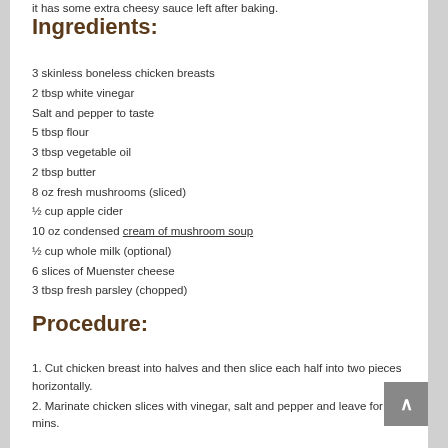it has some extra cheesy sauce left after baking.
Ingredients:
3 skinless boneless chicken breasts
2 tbsp white vinegar
Salt and pepper to taste
5 tbsp flour
3 tbsp vegetable oil
2 tbsp butter
8 oz fresh mushrooms (sliced)
½ cup apple cider
10 oz condensed cream of mushroom soup
½ cup whole milk (optional)
6 slices of Muenster cheese
3 tbsp fresh parsley (chopped)
Procedure:
1. Cut chicken breast into halves and then slice each half into two pieces horizontally.
2. Marinate chicken slices with vinegar, salt and pepper and leave for 10 mins.